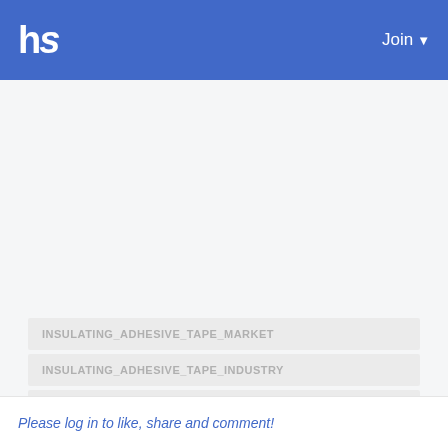hs  Join
INSULATING_ADHESIVE_TAPE_MARKET
INSULATING_ADHESIVE_TAPE_INDUSTRY
INSULATING_ADHESIVE_TAPE_MARKET_SIZE
INSULATING_ADHESIVE_TAPE_MARKET_SHARE
INSULATING_ADHESIVE_TAPE_MARKET_TREND
Please log in to like, share and comment!